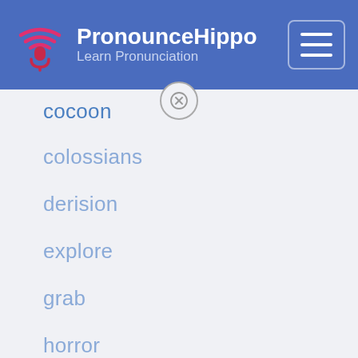PronounceHippo - Learn Pronunciation
cocoon
colossians
derision
explore
grab
horror
hyphae
information
koala
lose